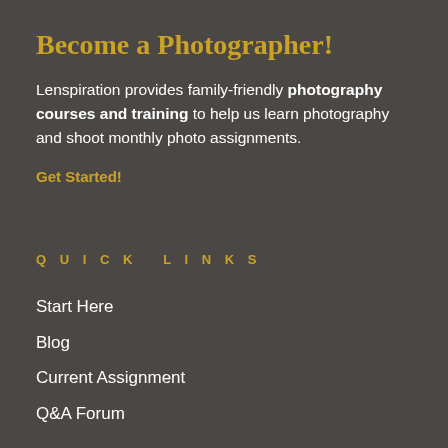Become a Photographer!
Lenspiration provides family-friendly photography courses and training to help us learn photography and shoot monthly photo assignments.
Get Started!
QUICK LINKS
Start Here
Blog
Current Assignment
Q&A Forum